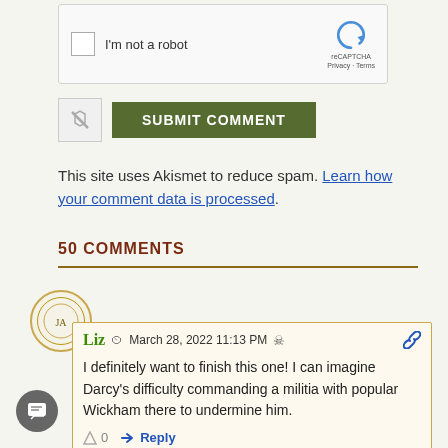[Figure (screenshot): reCAPTCHA widget with checkbox and 'I'm not a robot' label]
[Figure (screenshot): Subscribe/notify toggle button and green SUBMIT COMMENT button]
This site uses Akismet to reduce spam. Learn how your comment data is processed.
50 COMMENTS
Liz  March 28, 2022 11:13 PM   I definitely want to finish this one! I can imagine Darcy's difficulty commanding a militia with popular Wickham there to undermine him.